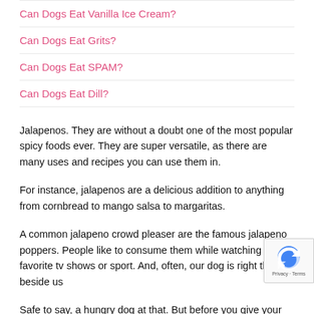Can Dogs Eat Vanilla Ice Cream?
Can Dogs Eat Grits?
Can Dogs Eat SPAM?
Can Dogs Eat Dill?
Jalapenos. They are without a doubt one of the most popular spicy foods ever. They are super versatile, as there are many uses and recipes you can use them in.
For instance, jalapenos are a delicious addition to anything from cornbread to mango salsa to margaritas.
A common jalapeno crowd pleaser are the famous jalapeno poppers. People like to consume them while watching their favorite tv shows or sport. And, often, our dog is right there beside us
Safe to say, a hungry dog at that. But before you give your dog a